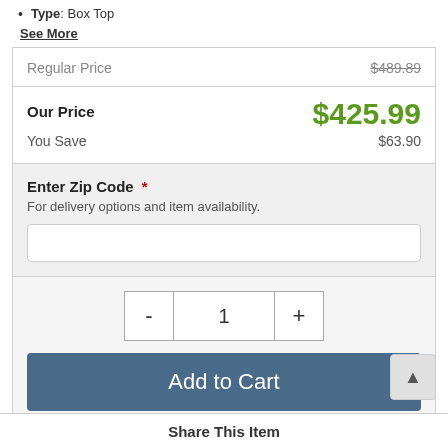Type: Box Top
See More
| Label | Value |
| --- | --- |
| Regular Price | $489.89 |
| Our Price | $425.99 |
| You Save | $63.90 |
Enter Zip Code * For delivery options and item availability.
1
Add to Cart
Share This Item